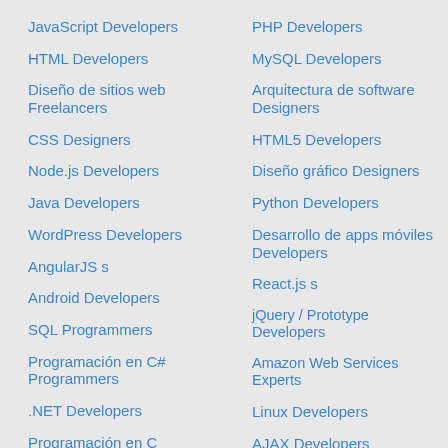JavaScript Developers
HTML Developers
Diseño de sitios web Freelancers
CSS Designers
Node.js Developers
Java Developers
WordPress Developers
AngularJS s
Android Developers
SQL Programmers
Programación en C# Programmers
.NET Developers
Programación en C Developers
PHP Developers
MySQL Developers
Arquitectura de software Designers
HTML5 Developers
Diseño gráfico Designers
Python Developers
Desarrollo de apps móviles Developers
React.js s
jQuery / Prototype Developers
Amazon Web Services Experts
Linux Developers
AJAX Developers
Laravel s
iPhone Developers